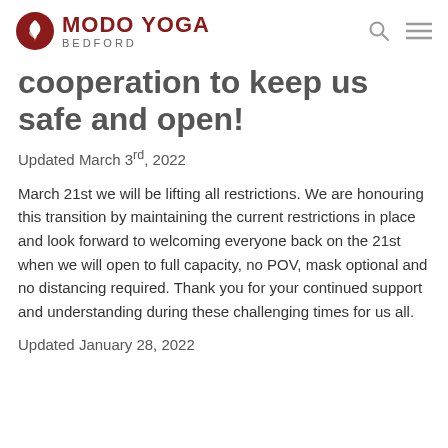MODO YOGA BEDFORD
cooperation to keep us safe and open!
Updated March 3rd, 2022
March 21st we will be lifting all restrictions. We are honouring this transition by maintaining the current restrictions in place and look forward to welcoming everyone back on the 21st when we will open to full capacity, no POV, mask optional and no distancing required. Thank you for your continued support and understanding during these challenging times for us all.
Updated January 28, 2022